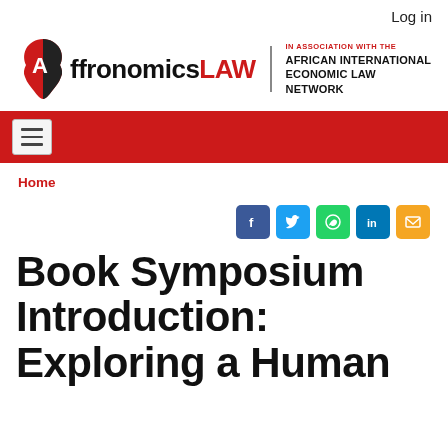Log in
[Figure (logo): AfronomicsLAW logo with African continent icon and 'IN ASSOCIATION WITH THE AFRICAN INTERNATIONAL ECONOMIC LAW NETWORK' text]
[Figure (other): Red navigation bar with hamburger menu button]
Home
[Figure (other): Social media share icons: Facebook, Twitter, WhatsApp, LinkedIn, Email]
Book Symposium Introduction: Exploring a Human